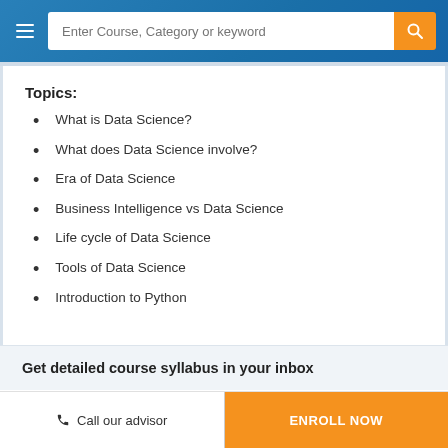Enter Course, Category or keyword
Topics:
What is Data Science?
What does Data Science involve?
Era of Data Science
Business Intelligence vs Data Science
Life cycle of Data Science
Tools of Data Science
Introduction to Python
Get detailed course syllabus in your inbox
Call our advisor  |  ENROLL NOW